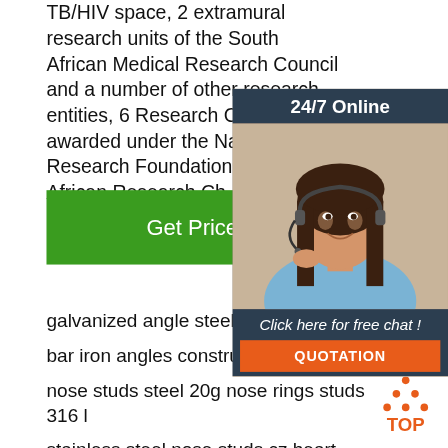TB/HIV space, 2 extramural research units of the South African Medical Research Council and a number of other research entities, 6 Research Chairs awarded under the National Research Foundation's South African Research Chairs Initiative (SARChI), and further areas of
[Figure (other): Green 'Get Price' button]
[Figure (other): 24/7 Online support widget with photo of woman wearing headset, 'Click here for free chat!' text, and orange QUOTATION button]
galvanized angle steel low price ste...
bar iron angles construction
nose studs steel 20g nose rings studs 316 l
stainless steel nose studs cz heart
hypoallergenic nostril nose piercing jewelry women men
[Figure (other): TOP scroll-to-top button with orange dots forming triangle and orange TOP text]